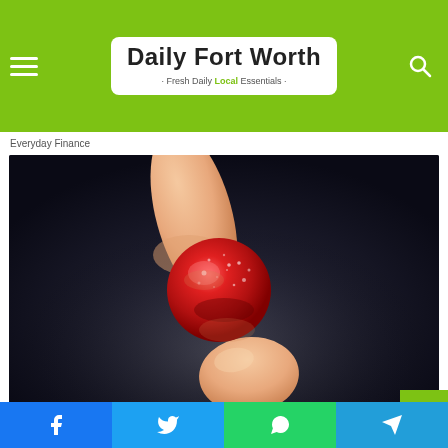Daily Fort Worth · Fresh Daily Local Essentials
Everyday Finance
[Figure (photo): A hand holding a small round red gummy candy/supplement between thumb and forefinger against a dark background]
Banned for 84 Years; Powerful Pain Reliever
Facebook share | Twitter share | WhatsApp share | Telegram share